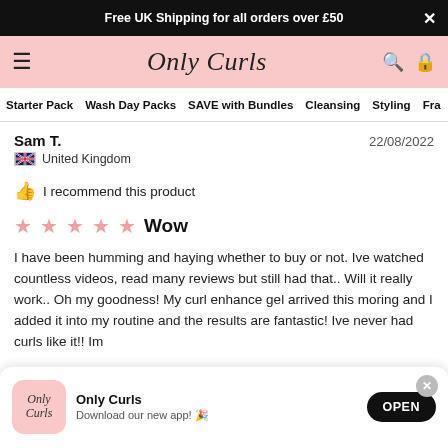Free UK Shipping for all orders over £50
[Figure (logo): Only Curls script logo on pink navigation header with hamburger menu, search and bag icons]
Starter Pack  Wash Day Packs  SAVE with Bundles  Cleansing  Styling  Fra
Sam T.   22/08/2022
🇬🇧 United Kingdom
👍 I recommend this product
★★★★★  Wow
I have been humming and haying whether to buy or not. Ive watched countless videos, read many reviews but still had that.. Will it really work.. Oh my goodness! My curl enhance gel arrived this moring and I added it into my routine and the results are fantastic! Ive never had curls like it!! Im
[Figure (screenshot): Only Curls app download banner with logo, app name, description and OPEN button]